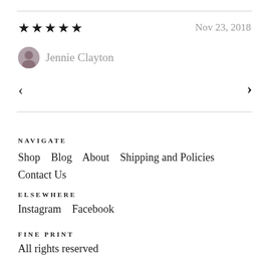★★★★★   Nov 23, 2018
Jennie Clayton
< >
NAVIGATE
Shop   Blog   About   Shipping and Policies   Contact Us
ELSEWHERE
Instagram   Facebook
FINE PRINT
All rights reserved